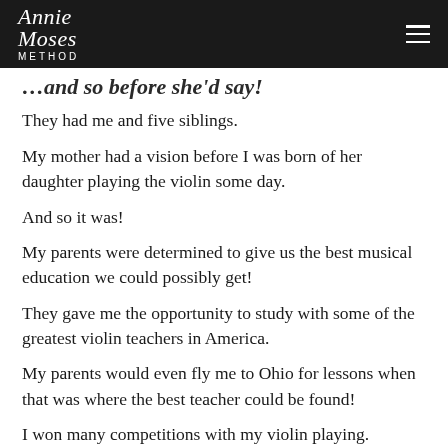Annie Moses Method
…and so before she'd say!
They had me and five siblings.
My mother had a vision before I was born of her daughter playing the violin some day.
And so it was!
My parents were determined to give us the best musical education we could possibly get!
They gave me the opportunity to study with some of the greatest violin teachers in America.
My parents would even fly me to Ohio for lessons when that was where the best teacher could be found!
I won many competitions with my violin playing.
And at 15, I was accepted as a scholarship student…